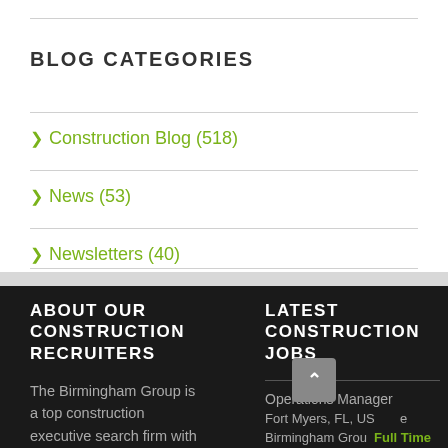BLOG CATEGORIES
> Construction Blog (518)
> News (53)
> Newsletters (40)
ABOUT OUR CONSTRUCTION RECRUITERS
The Birmingham Group is a top construction executive search firm with
LATEST CONSTRUCTION JOBS
Operations Manager
Fort Myers, FL, US  Full Time
Birmingham Group  Full Time